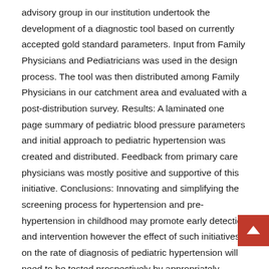advisory group in our institution undertook the development of a diagnostic tool based on currently accepted gold standard parameters. Input from Family Physicians and Pediatricians was used in the design process. The tool was then distributed among Family Physicians in our catchment area and evaluated with a post-distribution survey. Results: A laminated one page summary of pediatric blood pressure parameters and initial approach to pediatric hypertension was created and distributed. Feedback from primary care physicians was mostly positive and supportive of this initiative. Conclusions: Innovating and simplifying the screening process for hypertension and pre-hypertension in childhood may promote early detection and intervention however the effect of such initiatives on the rate of diagnosis of pediatric hypertension will need to be tested prospectively by appropriately designed studies.
Keywords
Hypertension; Child; Youth; Diagnostic Tool; Screening